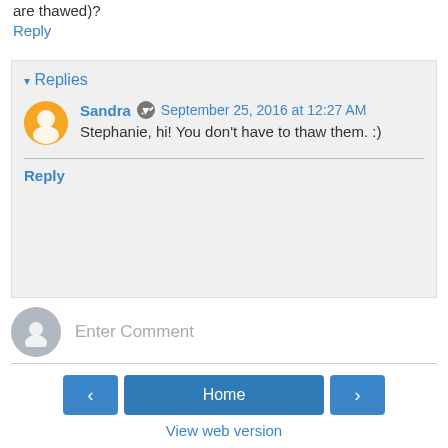are thawed)?
Reply
▾ Replies
Sandra  September 25, 2016 at 12:27 AM
Stephanie, hi! You don't have to thaw them. :)
Reply
Enter Comment
Home
View web version
Powered by Blogger.